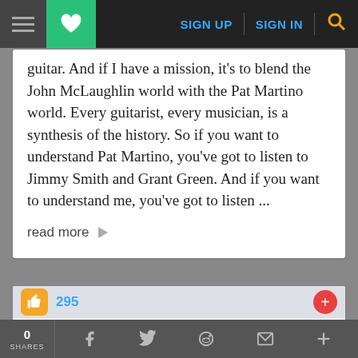SIGN UP  SIGN IN
guitar. And if I have a mission, it's to blend the John McLaughlin world with the Pat Martino world. Every guitarist, every musician, is a synthesis of the history. So if you want to understand Pat Martino, you've got to listen to Jimmy Smith and Grant Green. And if you want to understand me, you've got to listen ...
read more →
295
Album Review
Sergi Mohol-West
0 SHARES  f  t  reddit  mail  +